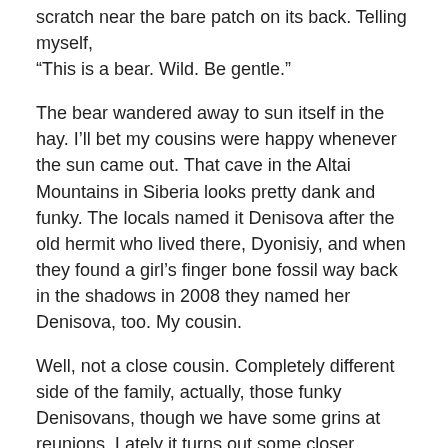scratch near the bare patch on its back. Telling myself, “This is a bear. Wild. Be gentle.”
The bear wandered away to sun itself in the hay. I’ll bet my cousins were happy whenever the sun came out. That cave in the Altai Mountains in Siberia looks pretty dank and funky. The locals named it Denisova after the old hermit who lived there, Dyonisiy, and when they found a girl’s finger bone fossil way back in the shadows in 2008 they named her Denisova, too. My cousin.
Well, not a close cousin. Completely different side of the family, actually, those funky Denisovans, though we have some grins at reunions. Lately it turns out some closer relatives used to hang out in that cave at times. Real close – Neanderthals. Kissing cousins. I’ll bet we all dream of scratching bears.